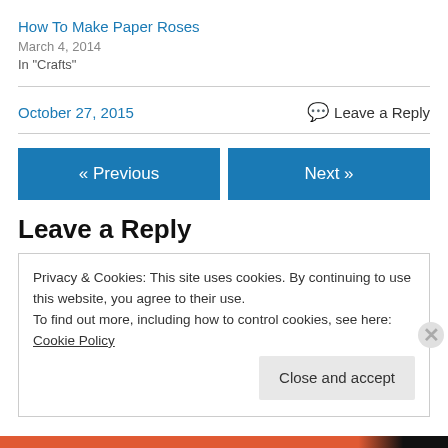How To Make Paper Roses
March 4, 2014
In "Crafts"
October 27, 2015
💬 Leave a Reply
« Previous
Next »
Leave a Reply
Privacy & Cookies: This site uses cookies. By continuing to use this website, you agree to their use.
To find out more, including how to control cookies, see here: Cookie Policy
Close and accept